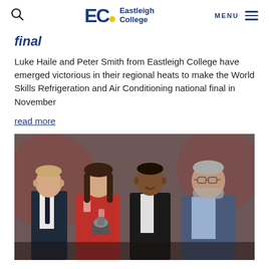Eastleigh College
final
Luke Haile and Peter Smith from Eastleigh College have emerged victorious in their regional heats to make the World Skills Refrigeration and Air Conditioning national final in November
read more
[Figure (photo): Four people standing together at an awards event, one holding a trophy, with red lighting in the background]